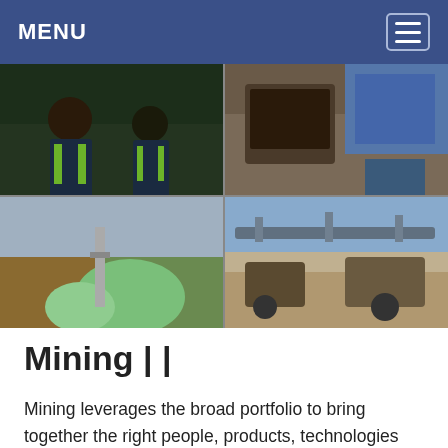MENU
[Figure (photo): Four-photo collage showing mining operations: top-left shows workers in high-visibility gear at a mine site, top-right shows mining equipment/machinery in a facility, bottom-left shows a mineral processing plant with green dome structures in mountainous terrain, bottom-right shows conveyor belt infrastructure and heavy equipment at an open-pit mine.]
Mining | |
Mining leverages the broad portfolio to bring together the right people, products, technologies and services to meet the needs of the mining industry. No matter the size, type or complexity of your operation, our goal is to help you